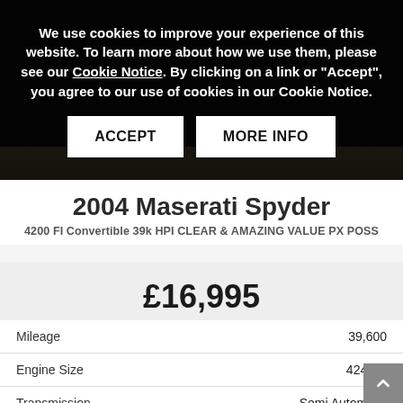[Figure (screenshot): Cookie consent overlay on a dark car listing page background. White text reads: We use cookies to improve your experience of this website. To learn more about how we use them, please see our Cookie Notice. By clicking on a link or 'Accept', you agree to our use of cookies in our Cookie Notice. Two buttons: ACCEPT and MORE INFO.]
2004 Maserati Spyder
4200 FI Convertible 39k HPI CLEAR & AMAZING VALUE PX POSS
£16,995
| Attribute | Value |
| --- | --- |
| Mileage | 39,600 |
| Engine Size | 4244cc |
| Transmission | Semi Automatic |
| Fuel Type | Petrol |
| No. of doors |  |